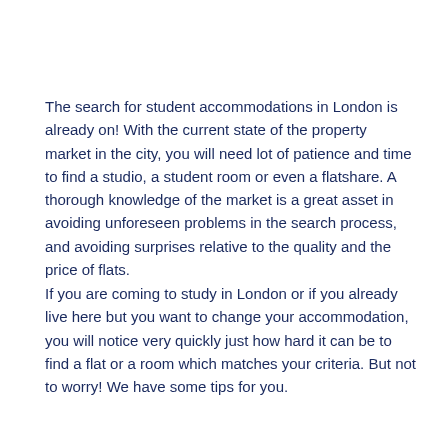The search for student accommodations in London is already on! With the current state of the property market in the city, you will need lot of patience and time to find a studio, a student room or even a flatshare. A thorough knowledge of the market is a great asset in avoiding unforeseen problems in the search process, and avoiding surprises relative to the quality and the price of flats.
If you are coming to study in London or if you already live here but you want to change your accommodation, you will notice very quickly just how hard it can be to find a flat or a room which matches your criteria. But not to worry! We have some tips for you.